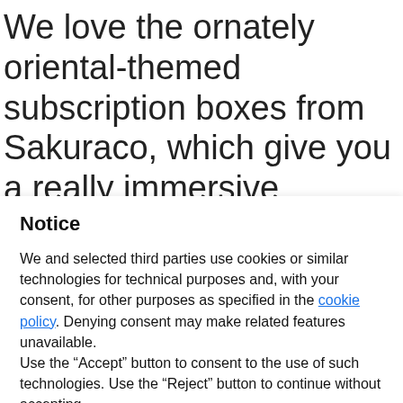We love the ornately oriental-themed subscription boxes from Sakuraco, which give you a really immersive experience that promises to introduce you to 20 new seasonal Japanese
Notice
We and selected third parties use cookies or similar technologies for technical purposes and, with your consent, for other purposes as specified in the cookie policy. Denying consent may make related features unavailable.
Use the “Accept” button to consent to the use of such technologies. Use the “Reject” button to continue without accepting.
Reject
Accept
Learn more and customize